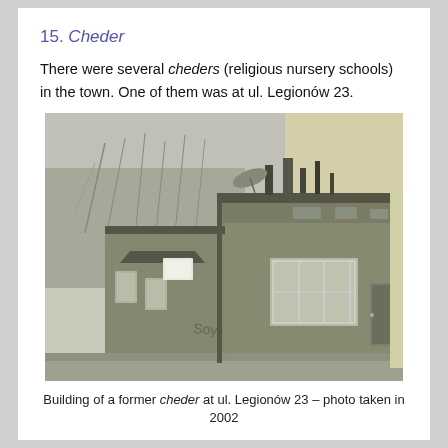15. Cheder
There were several cheders (religious nursery schools) in the town. One of them was at ul. Legionów 23.
[Figure (photo): Photograph of a low single-storey building with grey rendered walls, multiple chimneys on the roof, windows with white frames, and a door on the right side. Trees visible behind the left portion of the building. Photo taken in 2002 at ul. Legionów 23.]
Building of a former cheder at ul. Legionów 23 – photo taken in 2002